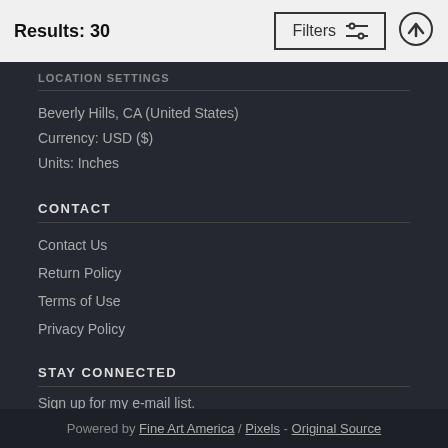Results: 30
Filters
LOCATION SETTINGS
Beverly Hills, CA (United States)
Currency: USD ($)
Units: Inches
CONTACT
Contact Us
Return Policy
Terms of Use
Privacy Policy
STAY CONNECTED
Sign up for my e-mail list.
Powered by Fine Art America / Pixels - Original Source